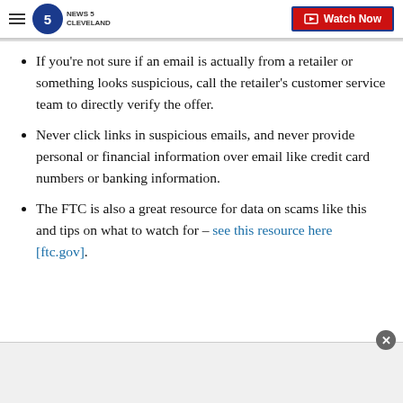NEWS 5 CLEVELAND | Watch Now
If you're not sure if an email is actually from a retailer or something looks suspicious, call the retailer's customer service team to directly verify the offer.
Never click links in suspicious emails, and never provide personal or financial information over email like credit card numbers or banking information.
The FTC is also a great resource for data on scams like this and tips on what to watch for – see this resource here [ftc.gov].